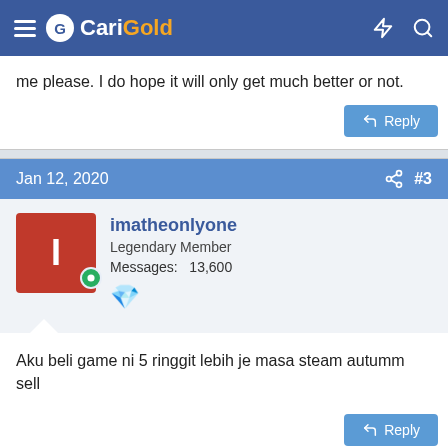CariGold
me please. I do hope it will only get much better or not.
Jan 12, 2020  #3
imatheonlyone
Legendary Member
Messages: 13,600
Aku beli game ni 5 ringgit lebih je masa steam autumm sell